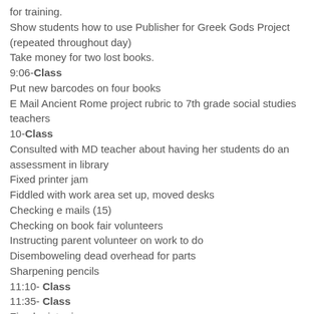for training.
Show students how to use Publisher for Greek Gods Project (repeated throughout day)
Take money for two lost books.
9:06- Class
Put new barcodes on four books
E Mail Ancient Rome project rubric to 7th grade social studies teachers
10- Class
Consulted with MD teacher about having her students do an assessment in library
Fixed printer jam
Fiddled with work area set up, moved desks
Checking e mails (15)
Checking on book fair volunteers
Instructing parent volunteer on work to do
Disemboweling dead overhead for parts
Sharpening pencils
11:10- Class
11:35- Class
Fixed printer jam
Printed Rome Project papers